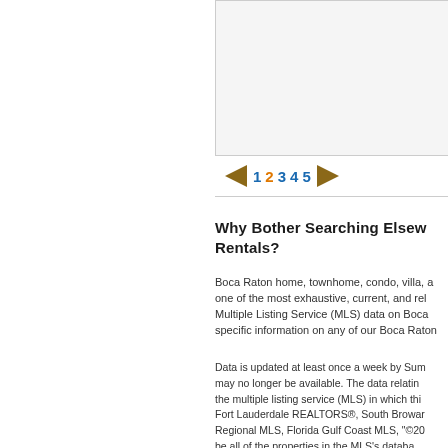[Figure (other): Gray box placeholder at top right of page]
◄ 1 2 3 4 5 ►
Why Bother Searching Elsewhere for Boca Raton Rentals?
Boca Raton home, townhome, condo, villa, and apartment rental listings are one of the most exhaustive, current, and reliable, featuring Multiple Listing Service (MLS) data on Boca Raton rentals. Get specific information on any of our Boca Raton
Data is updated at least once a week by Sun may no longer be available. The data relating the multiple listing service (MLS) in which this Fort Lauderdale REALTORS®, South Browar Regional MLS, Florida Gulf Coast MLS, "©2C be all of the properties in the MLS's databa Properties listed by Brokers other than this B MLS. Detailed information about such prope guaranteed to be accurate; you are advised herein, or for their use or interpretation by the property data displayed herein and take no color religion, sex, handicap, familial status